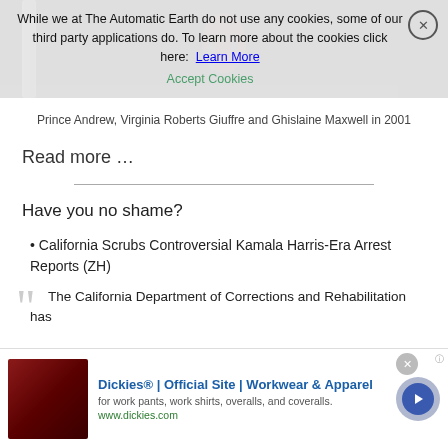While we at The Automatic Earth do not use any cookies, some of our third party applications do. To learn more about the cookies click here: Learn More  Accept Cookies
[Figure (photo): Partial photo showing dark background with colorful hair visible, likely a cropped image of people including Prince Andrew, Virginia Roberts Giuffre and Ghislaine Maxwell]
Prince Andrew, Virginia Roberts Giuffre and Ghislaine Maxwell in 2001
Read more …
Have you no shame?
• California Scrubs Controversial Kamala Harris-Era Arrest Reports (ZH)
The California Department of Corrections and Rehabilitation has
[Figure (other): Advertisement for Dickies Official Site - Workwear & Apparel. Shows furniture thumbnail, text 'for work pants, work shirts, overalls, and coveralls. www.dickies.com']